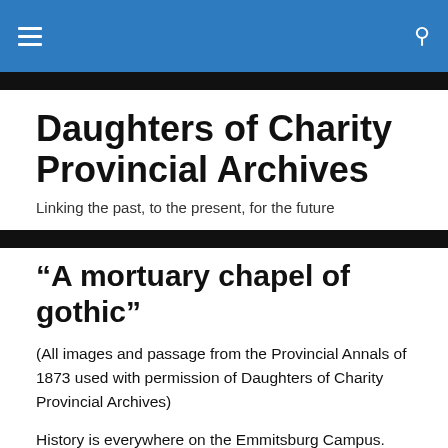Daughters of Charity Provincial Archives — navigation bar
Daughters of Charity Provincial Archives
Linking the past, to the present, for the future
“A mortuary chapel of gothic”
(All images and passage from the Provincial Annals of 1873 used with permission of Daughters of Charity Provincial Archives)
History is everywhere on the Emmitsburg Campus. The Daughters of Charity (and the Sisters of Charity of St. Joseph’s before them) have occupied this site